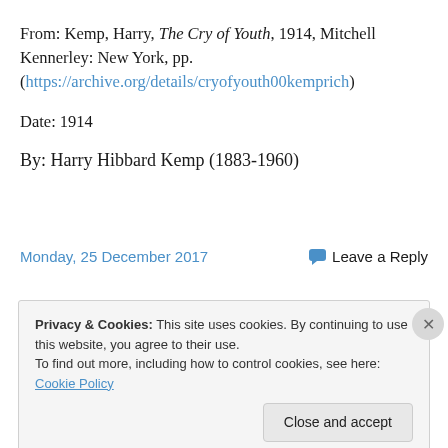From: Kemp, Harry, The Cry of Youth, 1914, Mitchell Kennerley: New York, pp. (https://archive.org/details/cryofyouth00kemprich)
Date: 1914
By: Harry Hibbard Kemp (1883-1960)
Monday, 25 December 2017
Leave a Reply
Privacy & Cookies: This site uses cookies. By continuing to use this website, you agree to their use. To find out more, including how to control cookies, see here: Cookie Policy
Close and accept